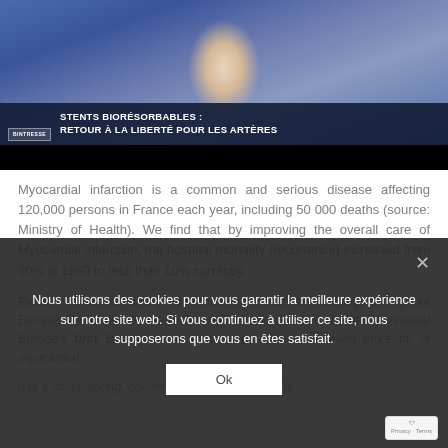[Figure (screenshot): TV news screenshot showing a man in a blue suit jacket being interviewed. Lower-third chyron reads: 'STENTS BIORÉSORBABLES : RETOUR À LA LIBERTÉ POUR LES ARTÈRES']
Myocardial infarction is a common and serious disease affecting 120,000 persons in France each year, including 50 000 deaths (source: Ministry of Health). We find that by improving the overall care of Myocardial infarction, the hospital mortality (recurrence) increased from 30% in 1960 to less than 10% currently.
Evadeo Pro works closely with renowned experts in cardiology throughout Europe. Developed by the Biotronik Technologies, this site has developed Europe's first Bioresorbable stent, used to prevent even more thi of myocardial
It is a small, spring, conventionally, made of metal